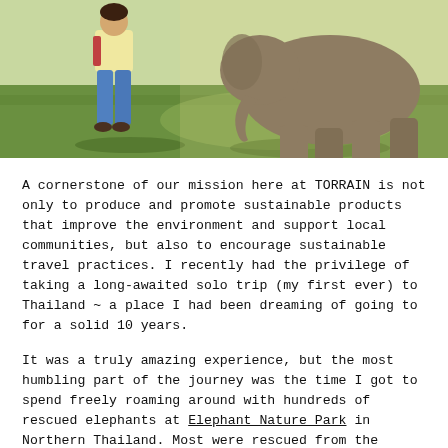[Figure (photo): A person standing outdoors on green grass next to an elephant, photographed from a mid-distance angle showing the person's lower body and the elephant's legs and lower torso in sunlight.]
A cornerstone of our mission here at TORRAIN is not only to produce and promote sustainable products that improve the environment and support local communities, but also to encourage sustainable travel practices. I recently had the privilege of taking a long-awaited solo trip (my first ever) to Thailand ~ a place I had been dreaming of going to for a solid 10 years.
It was a truly amazing experience, but the most humbling part of the journey was the time I got to spend freely roaming around with hundreds of rescued elephants at Elephant Nature Park in Northern Thailand. Most were rescued from the illegal logging industry, others from riding camps and